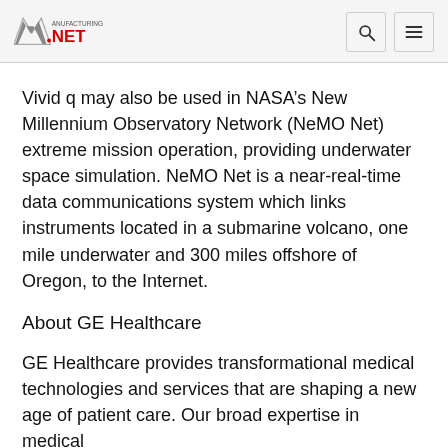Manufacturing NET
Vivid q may also be used in NASA’s New Millennium Observatory Network (NeMO Net) extreme mission operation, providing underwater space simulation. NeMO Net is a near-real-time data communications system which links instruments located in a submarine volcano, one mile underwater and 300 miles offshore of Oregon, to the Internet.
About GE Healthcare
GE Healthcare provides transformational medical technologies and services that are shaping a new age of patient care. Our broad expertise in medical